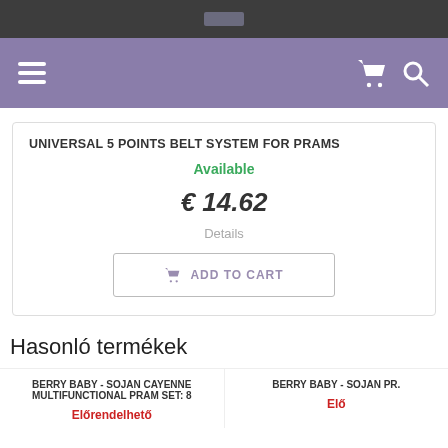UNIVERSAL 5 POINTS BELT SYSTEM FOR PRAMS
Available
€ 14.62
Details
ADD TO CART
Hasonló termékek
BERRY BABY - SOJAN CAYENNE MULTIFUNCTIONAL PRAM SET: 8
Előrendelhető
BERRY BABY - SOJAN PR.
Elő